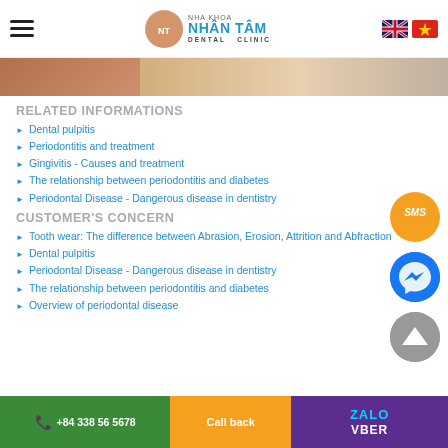NHA KHOA NHAN TAM DENTAL CLINIC
[Figure (photo): Partial banner image strip of a dental clinic promotion]
RELATED INFORMATIONS
Dental pulpitis
Periodontitis and treatment
Gingivitis - Causes and treatment
The relationship between periodontitis and diabetes
Periodontal Disease - Dangerous disease in dentistry
CUSTOMER'S CONCERN
Tooth wear: The difference between Abrasion, Erosion, Attrition and Abfraction
Dental pulpitis
Periodontal Disease - Dangerous disease in dentistry
The relationship between periodontitis and diabetes
Overview of periodontal disease
+84 338 56 5678 | Call back | ZALO VBER